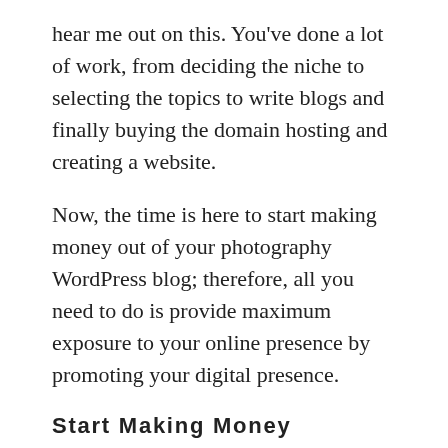hear me out on this. You've done a lot of work, from deciding the niche to selecting the topics to write blogs and finally buying the domain hosting and creating a website.
Now, the time is here to start making money out of your photography WordPress blog; therefore, all you need to do is provide maximum exposure to your online presence by promoting your digital presence.
Start Making Money
There are literally tons of different ways that you can leverage to monetize your app. I mean, you can use the NextGEN Gallery or Pro version to help you with selling your photographs.